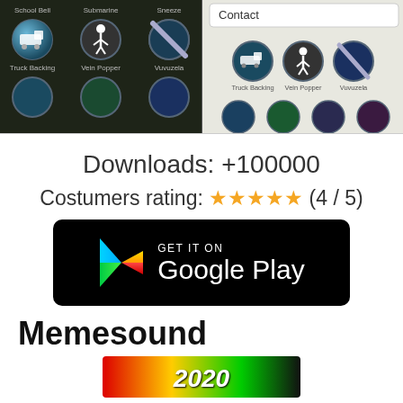[Figure (screenshot): Two mobile app screenshots side by side showing a sound app grid with icons labeled School Bell, Submarine, Sneeze, Truck Backing, Vein Popper, Vuvuzela and others on dark background; right screenshot shows a contact view with same icons]
Downloads: +100000
Costumers rating: ★★★★★ (4 / 5)
[Figure (other): GET IT ON Google Play badge — black rounded rectangle with Google Play triangle logo and white text]
Memesound
[Figure (other): Partial banner image showing '2020' text on colorful red/yellow/green background]